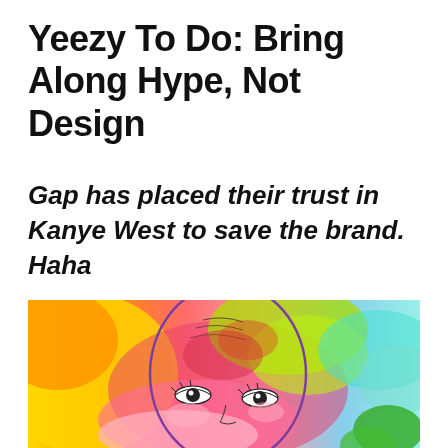Yeezy To Do: Bring Along Hype, Not Design
Gap has placed their trust in Kanye West to save the brand. Haha
[Figure (illustration): Colorful watercolor-style illustration of a human face/head with abstract splashes of yellow, orange, red, pink, green, and teal/blue colors. The face has detailed drawn eyes and is outlined in purple/dark ink on a rainbow watercolor background.]